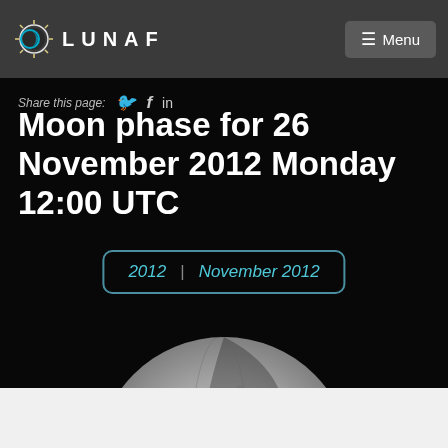LUNAF | Menu
Share this page:
Moon phase for 26 November 2012 Monday 12:00 UTC
2012  |  November 2012
[Figure (photo): Partial moon image visible at bottom of page, showing craters on a dark background]